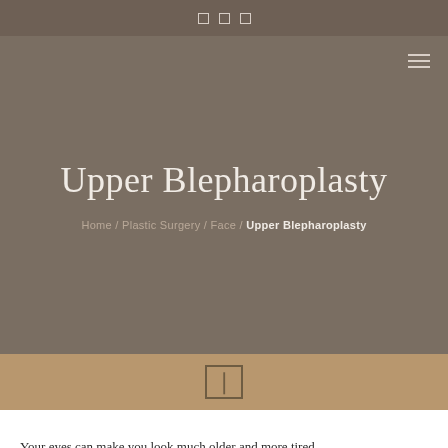social icons bar
Upper Blepharoplasty
Home / Plastic Surgery / Face / Upper Blepharoplasty
[Figure (other): Scroll down arrow icon in tan/beige section]
Your eyes can make you look much older and more tired